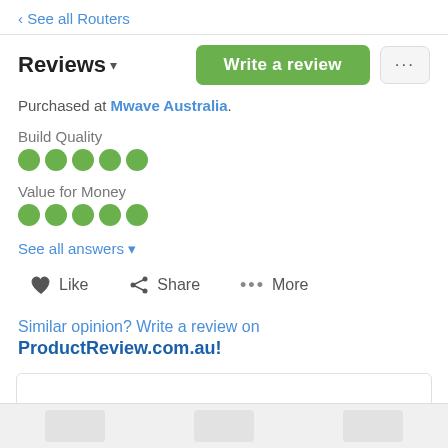‹ See all Routers
Reviews ▾
Purchased at Mwave Australia.
Build Quality
[Figure (infographic): 5 green filled dots representing Build Quality rating]
Value for Money
[Figure (infographic): 5 green filled dots representing Value for Money rating]
See all answers ▾
♥ Like   < Share   ••• More
Similar opinion? Write a review on ProductReview.com.au!
[Figure (screenshot): White card area at the bottom of the page with partial product images in a gray footer strip]